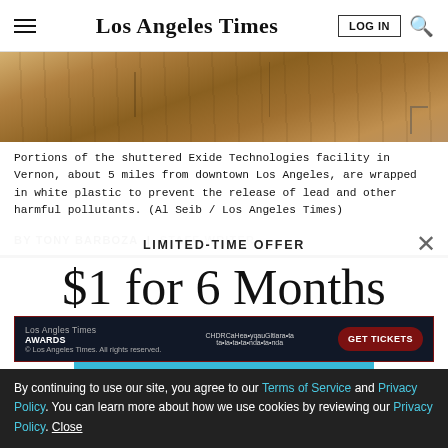Los Angeles Times
[Figure (photo): Aerial or ground-level view of the shuttered Exide Technologies facility in Vernon, showing concrete structures wrapped in white plastic sheeting, with chain-link fencing visible.]
Portions of the shuttered Exide Technologies facility in Vernon, about 5 miles from downtown Los Angeles, are wrapped in white plastic to prevent the release of lead and other harmful pollutants. (Al Seib / Los Angeles Times)
BY TONY BARBOZA | STAFF WRITER
LIMITED-TIME OFFER
$1 for 6 Months
SUBSCRIBE NOW
By continuing to use our site, you agree to our Terms of Service and Privacy Policy. You can learn more about how we use cookies by reviewing our Privacy Policy. Close